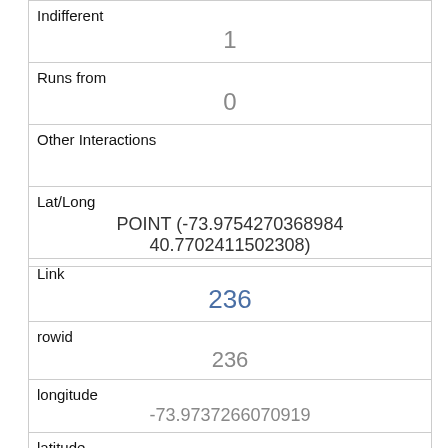| Indifferent | 1 |
| Runs from | 0 |
| Other Interactions |  |
| Lat/Long | POINT (-73.9754270368984 40.7702411502308) |
| Link | 236 |
| rowid | 236 |
| longitude | -73.9737266070919 |
| latitude | 40.7786338379896 |
| Unique Squirrel ID | 14A-PM-1014-01 |
| Hectare |  |